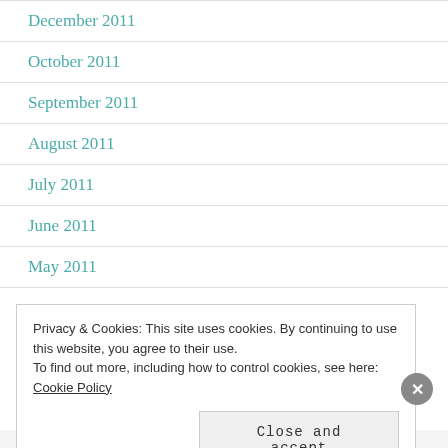December 2011
October 2011
September 2011
August 2011
July 2011
June 2011
May 2011
Privacy & Cookies: This site uses cookies. By continuing to use this website, you agree to their use. To find out more, including how to control cookies, see here: Cookie Policy
Close and accept